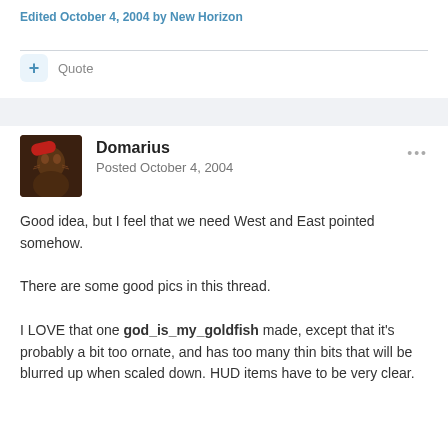Edited October 4, 2004 by New Horizon
+ Quote
Domarius
Posted October 4, 2004
Good idea, but I feel that we need West and East pointed somehow.
There are some good pics in this thread.
I LOVE that one god_is_my_goldfish made, except that it's probably a bit too ornate, and has too many thin bits that will be blurred up when scaled down. HUD items have to be very clear.